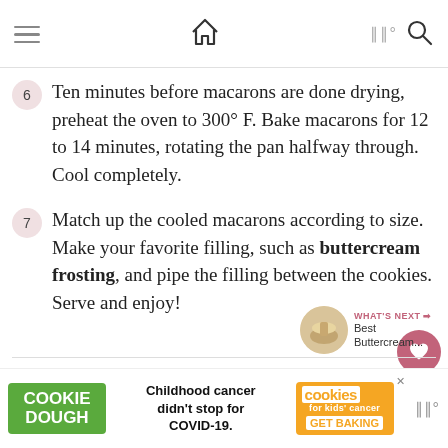Navigation bar with hamburger menu, home icon, weather indicator, and search icon
6 Ten minutes before macarons are done drying, preheat the oven to 300° F. Bake macarons for 12 to 14 minutes, rotating the pan halfway through. Cool completely.
7 Match up the cooled macarons according to size. Make your favorite filling, such as buttercream frosting, and pipe the filling between the cookies. Serve and enjoy!
[Figure (screenshot): Social share sidebar with heart/favorite button showing 12.1K and a share button]
[Figure (infographic): What's Next panel with thumbnail image and text 'Best Buttercream...']
[Figure (infographic): Advertisement banner: Cookie Dough - Childhood cancer didn't stop for COVID-19. Cookies for kids cancer GET BAKING]